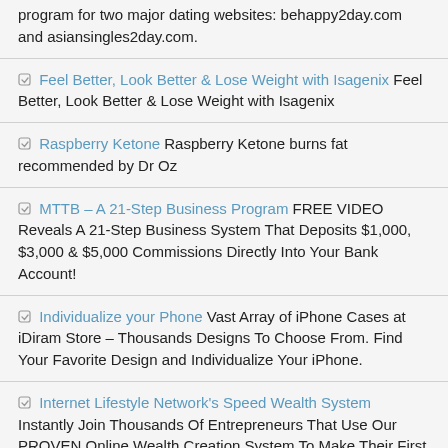program for two major dating websites: behappy2day.com and asiansingles2day.com.
Feel Better, Look Better & Lose Weight with Isagenix Feel Better, Look Better & Lose Weight with Isagenix
Raspberry Ketone Raspberry Ketone burns fat recommended by Dr Oz
MTTB – A 21-Step Business Program FREE VIDEO Reveals A 21-Step Business System That Deposits $1,000, $3,000 & $5,000 Commissions Directly Into Your Bank Account!
Individualize your Phone Vast Array of iPhone Cases at iDiram Store – Thousands Designs To Choose From. Find Your Favorite Design and Individualize Your iPhone.
Internet Lifestyle Network's Speed Wealth System Instantly Join Thousands Of Entrepreneurs That Use Our PROVEN Online Wealth Creation System To Make Their First